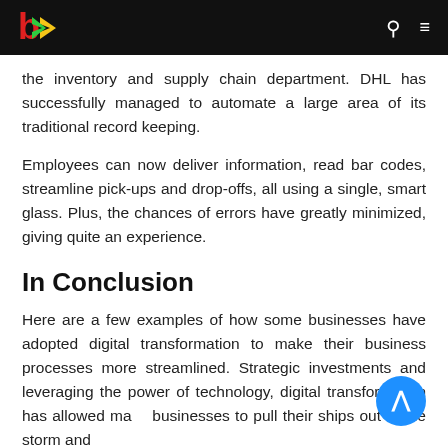Navigation bar with logo, search icon, and menu icon
the inventory and supply chain department. DHL has successfully managed to automate a large area of its traditional record keeping.
Employees can now deliver information, read bar codes, streamline pick-ups and drop-offs, all using a single, smart glass. Plus, the chances of errors have greatly minimized, giving quite an experience.
In Conclusion
Here are a few examples of how some businesses have adopted digital transformation to make their business processes more streamlined. Strategic investments and leveraging the power of technology, digital transformation has allowed ma… businesses to pull their ships out of the storm and